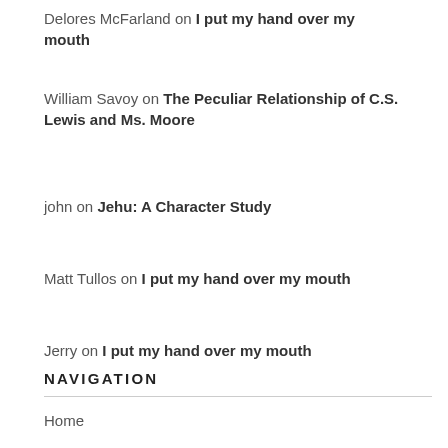Delores McFarland on I put my hand over my mouth
William Savoy on The Peculiar Relationship of C.S. Lewis and Ms. Moore
john on Jehu: A Character Study
Matt Tullos on I put my hand over my mouth
Jerry on I put my hand over my mouth
NAVIGATION
Home